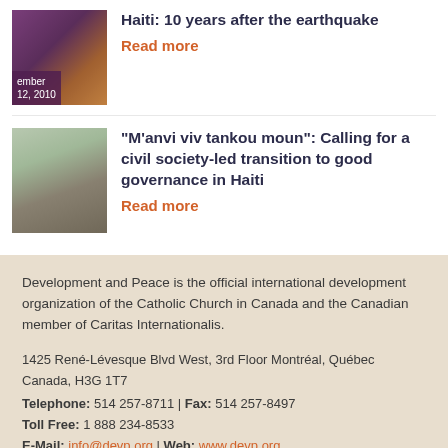[Figure (photo): Partial photo of earthquake-damaged building with purple date overlay showing 'ember' and '12, 2010']
Haiti: 10 years after the earthquake
Read more
[Figure (photo): Photo of person carrying heavy loads on a path]
“M’anvi viv tankou moun”: Calling for a civil society-led transition to good governance in Haiti
Read more
Development and Peace is the official international development organization of the Catholic Church in Canada and the Canadian member of Caritas Internationalis.
1425 René-Lévesque Blvd West, 3rd Floor Montréal, Québec Canada, H3G 1T7
Telephone: 514 257-8711 | Fax: 514 257-8497
Toll Free: 1 888 234-8533
E-Mail: info@devp.org | Web: www.devp.org
Charity Number: 1 1882 9902 RR 0001
© Development and Peace 2010-2020